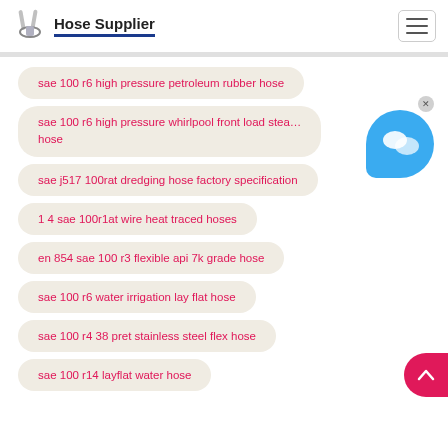Hose Supplier
sae 100 r6 high pressure petroleum rubber hose
sae 100 r6 high pressure whirlpool front load stea... hose
sae j517 100rat dredging hose factory specification
1 4 sae 100r1at wire heat traced hoses
en 854 sae 100 r3 flexible api 7k grade hose
sae 100 r6 water irrigation lay flat hose
sae 100 r4 38 pret stainless steel flex hose
sae 100 r14 layflat water hose